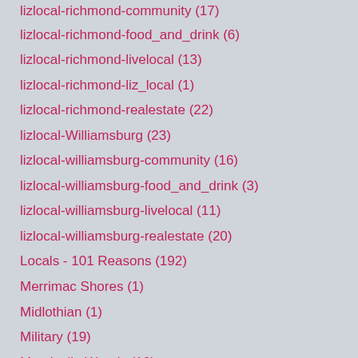lizlocal-richmond-community (17)
lizlocal-richmond-food_and_drink (6)
lizlocal-richmond-livelocal (13)
lizlocal-richmond-liz_local (1)
lizlocal-richmond-realestate (22)
lizlocal-Williamsburg (23)
lizlocal-williamsburg-community (16)
lizlocal-williamsburg-food_and_drink (3)
lizlocal-williamsburg-livelocal (11)
lizlocal-williamsburg-realestate (20)
Locals - 101 Reasons (192)
Merrimac Shores (1)
Midlothian (1)
Military (19)
Monticello Woods (10)